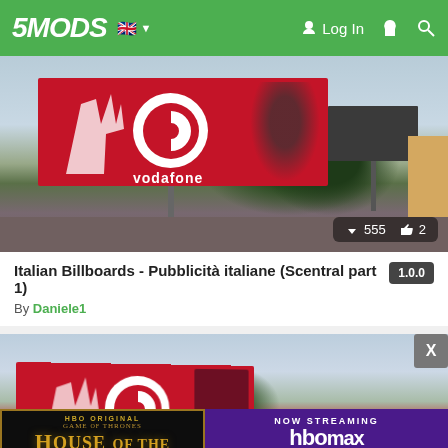5MODS — Log In
[Figure (screenshot): Screenshot of GTA game scene showing a Vodafone billboard with red background. Stats overlay shows 555 downloads and 2 likes.]
Italian Billboards - Pubblicità italiane (Scentral part 1)
By Daniele1
[Figure (screenshot): Second screenshot of GTA game scene showing a Vodafone billboard from a different angle. An advertisement overlay for HBO Original Game of Thrones: House of the Dragon appears at the bottom, with HBO Max streaming promotion on the right side. A close button (X) is visible.]